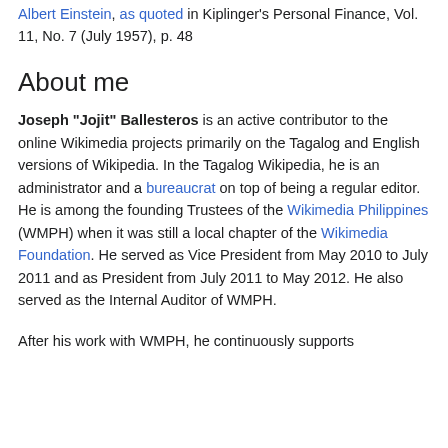Albert Einstein, as quoted in Kiplinger's Personal Finance, Vol. 11, No. 7 (July 1957), p. 48
About me
Joseph "Jojit" Ballesteros is an active contributor to the online Wikimedia projects primarily on the Tagalog and English versions of Wikipedia. In the Tagalog Wikipedia, he is an administrator and a bureaucrat on top of being a regular editor. He is among the founding Trustees of the Wikimedia Philippines (WMPH) when it was still a local chapter of the Wikimedia Foundation. He served as Vice President from May 2010 to July 2011 and as President from July 2011 to May 2012. He also served as the Internal Auditor of WMPH.
After his work with WMPH, he continuously supports